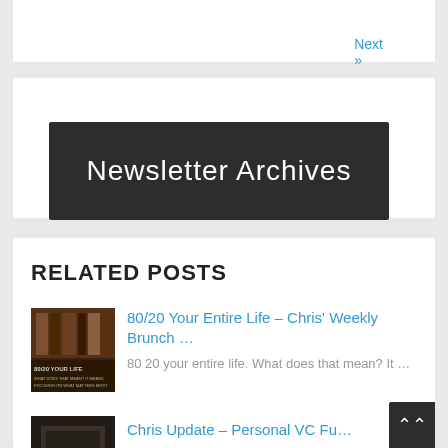Next »
[Figure (illustration): Newsletter Archives banner with white text on dark background]
RELATED POSTS
[Figure (photo): 80/20 Your Life book cover thumbnail]
80/20 Your Entire Life – Chris' Weekly Brunch …
80 20 your entire life. What does that mean? It …
[Figure (photo): Chris Update – Personal VC Fund thumbnail]
Chris Update – Personal VC Fu…